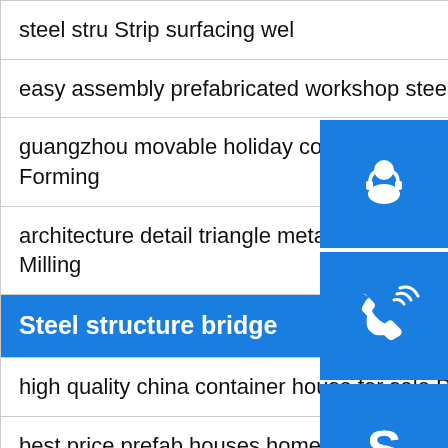steel stru Strip surfacing wel
easy assembly prefabricated workshop steel structure Slitting
guangzhou movable holiday container beach ho Forming
architecture detail triangle metal steel structure Milling
Steel structure bridge
high quality china container house for sale Plasma welding
best price prefab houses home made in china Strip surfacing welding